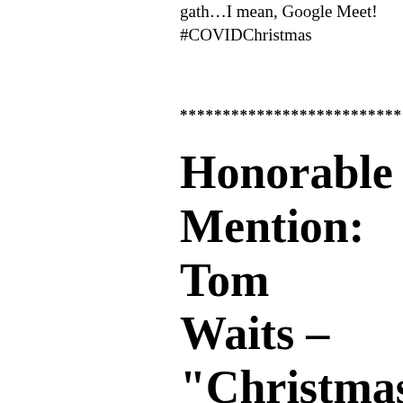gath…I mean, Google Meet! #COVIDChristmas
******************************************
Honorable Mention: Tom Waits – “Christmas Card From A Hooker In